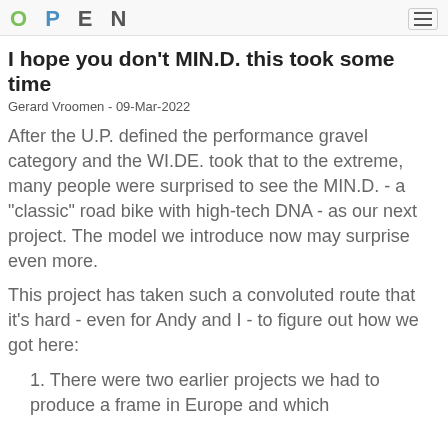OPEN
I hope you don't MIN.D. this took some time
Gerard Vroomen - 09-Mar-2022
After the U.P. defined the performance gravel category and the WI.DE. took that to the extreme, many people were surprised to see the MIN.D. - a "classic" road bike with high-tech DNA - as our next project. The model we introduce now may surprise even more.
This project has taken such a convoluted route that it's hard - even for Andy and I - to figure out how we got here:
1. There were two earlier projects we had to produce a frame in Europe and which